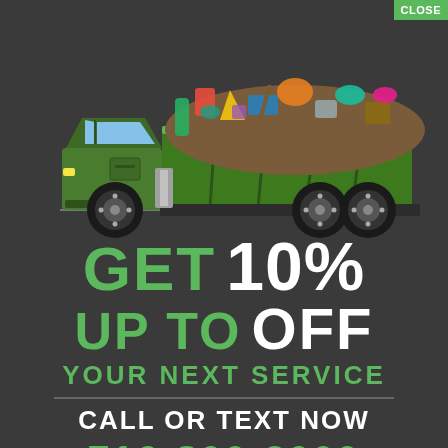[Figure (illustration): A green dump truck loaded with various colorful trash and debris items, viewed from the side on a dark background.]
CLOSE
GET 10% UP TO OFF YOUR NEXT SERVICE
CALL OR TEXT NOW
716-800-2000